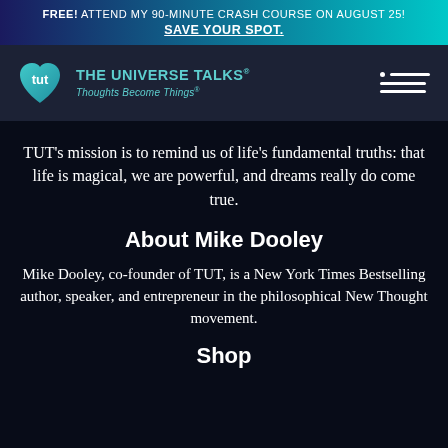FREE! ATTEND MY 90-MINUTE CRASH COURSE ON AUGUST 25! SAVE YOUR SPOT.
[Figure (logo): TUT - The Universe Talks logo with heart shape and text 'Thoughts Become Things']
TUT’s mission is to remind us of life’s fundamental truths: that life is magical, we are powerful, and dreams really do come true.
About Mike Dooley
Mike Dooley, co-founder of TUT, is a New York Times Bestselling author, speaker, and entrepreneur in the philosophical New Thought movement.
Shop